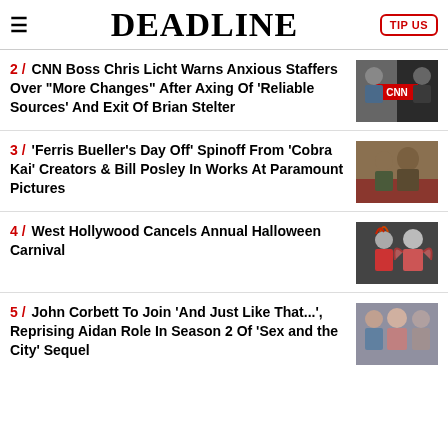DEADLINE
2 / CNN Boss Chris Licht Warns Anxious Staffers Over "More Changes" After Axing Of 'Reliable Sources' And Exit Of Brian Stelter
3 / 'Ferris Bueller's Day Off' Spinoff From 'Cobra Kai' Creators & Bill Posley In Works At Paramount Pictures
4 / West Hollywood Cancels Annual Halloween Carnival
5 / John Corbett To Join 'And Just Like That...', Reprising Aidan Role In Season 2 Of 'Sex and the City' Sequel